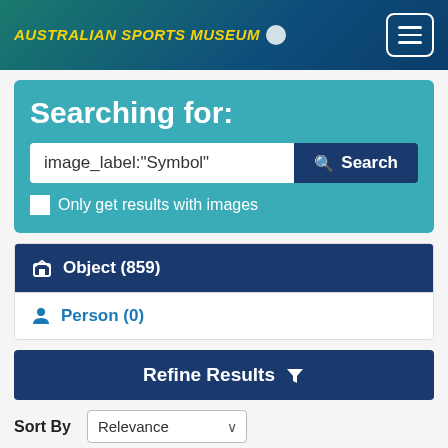AUSTRALIAN SPORTS MUSEUM
Searching for:
image_label:"Symbol"
Only get results with images
Object (859)
Person (0)
Refine Results
Sort By  Relevance